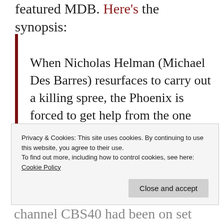featured MDB. Here's the synopsis:
When Nicholas Helman (Michael Des Barres) resurfaces to carry out a killing spree, the Phoenix is forced to get help from the one person who knows him best… his protégé, Murdoc.
Privacy & Cookies: This site uses cookies. By continuing to use this website, you agree to their use.
To find out more, including how to control cookies, see here:
Cookie Policy
Channel CBS40 had been on set for that